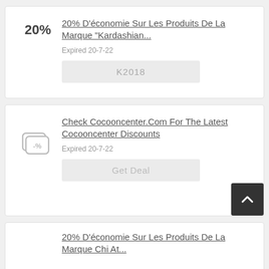20% D'économie Sur Les Produits De La Marque "Kardashian...
Expired 20-7-22
K2018
Check Cocooncenter.Com For The Latest Cocooncenter Discounts
Expired 20-7-22
Get Deal
20% D'économie Sur Les Produits De La Marque Chi At...